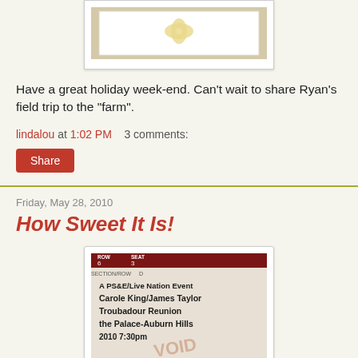[Figure (photo): Photo of a decorative item with a bow on white background, framed in white]
Have a great holiday week-end.  Can't wait to share Ryan's field trip to the "farm".
lindalou at 1:02 PM    3 comments:
Share
Friday, May 28, 2010
How Sweet It Is!
[Figure (photo): Concert ticket for Carole King/James Taylor Troubadour Reunion at the Palace-Auburn Hills, 7:30pm, A PS&E/Live Nation Event]